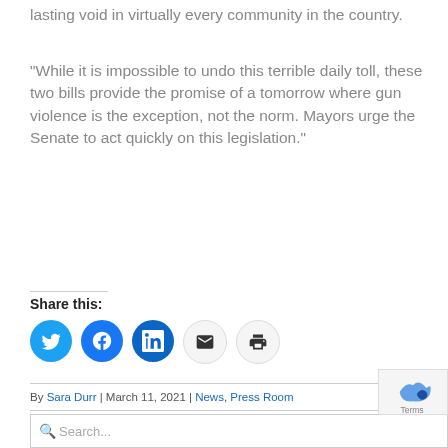lasting void in virtually every community in the country.
“While it is impossible to undo this terrible daily toll, these two bills provide the promise of a tomorrow where gun violence is the exception, not the norm. Mayors urge the Senate to act quickly on this legislation.”
Share this:
[Figure (infographic): Social share buttons: Twitter (blue), Facebook (blue), LinkedIn (blue), Email (light), Print (light)]
By Sara Durr | March 11, 2021 | News, Press Room
Search...